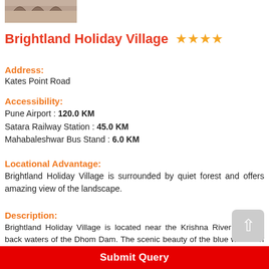[Figure (photo): Hotel exterior image showing arched architecture]
Brightland Holiday Village ★★★★
Address:
Kates Point Road
Accessibility:
Pune Airport : 120.0 KM
Satara Railway Station : 45.0 KM
Mahabaleshwar Bus Stand : 6.0 KM
Locational Advantage:
Brightland Holiday Village is surrounded by quiet forest and offers amazing view of the landscape.
Description:
Brightland Holiday Village is located near the Krishna River and the back waters of the Dhom Dam. The scenic beauty of the blue waters of the Krishna River and the green mountains stimulate a very soothing and relaxing effect. Brightland Holiday Village is best...
Submit Query